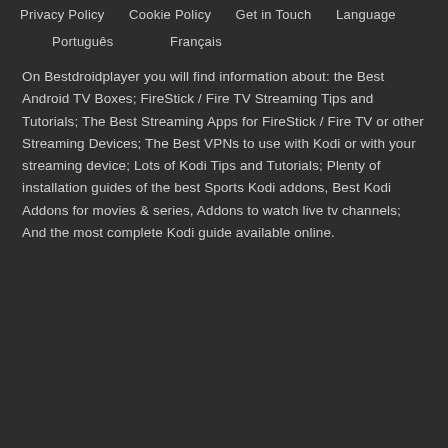Privacy Policy
Cookie Policy
Get in Touch
Language
Português
Français
On Bestdroidplayer you will find information about: the Best Android TV Boxes; FireStick / Fire TV Streaming Tips and Tutorials; The Best Streaming Apps for FireStick / Fire TV or other Streaming Devices; The Best VPNs to use with Kodi or with your streaming device; Lots of Kodi Tips and Tutorials; Plenty of installation guides of the best Sports Kodi addons, Best Kodi Addons for movies & series, Addons to watch live tv channels; And the most complete Kodi guide available online.